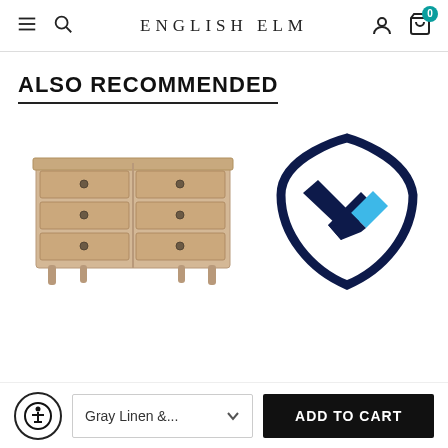ENGLISH ELM
ALSO RECOMMENDED
[Figure (photo): A light wood six-drawer double dresser with turned legs and round knobs]
[Figure (logo): Shield-shaped logo with dark navy border and an X mark inside, with light blue accent on the X]
Gray Linen &...
ADD TO CART